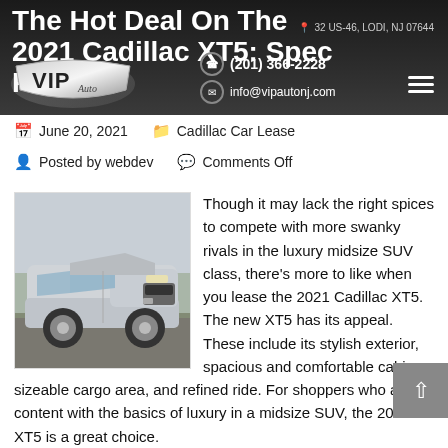32 US-46, LODI, NJ 07644 | (201) 366-2228 | info@vipautonj.com
The Hot Deal On The 2021 Cadillac XT5: Spec Review
[Figure (logo): VIP Auto logo — silver shield with VIP text and Auto script underneath]
June 20, 2021
Cadillac Car Lease
Posted by webdev
Comments Off
[Figure (photo): Silver 2021 Cadillac XT5 SUV parked outdoors, front three-quarter view]
Though it may lack the right spices to compete with more swanky rivals in the luxury midsize SUV class, there's more to like when you lease the 2021 Cadillac XT5. The new XT5 has its appeal. These include its stylish exterior, spacious and comfortable cabin, sizeable cargo area, and refined ride. For shoppers who are content with the basics of luxury in a midsize SUV, the 2021 XT5 is a great choice.